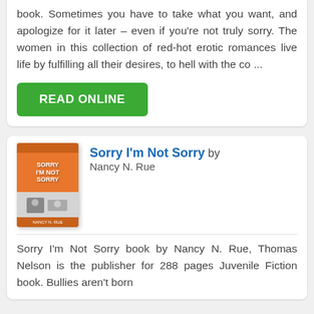book. Sometimes you have to take what you want, and apologize for it later – even if you're not truly sorry. The women in this collection of red-hot erotic romances live life by fulfilling all their desires, to hell with the co ...
READ ONLINE
[Figure (illustration): Book cover for 'Sorry I'm Not Sorry' by Nancy N. Rue, orange cover with white text]
Sorry I'm Not Sorry by Nancy N. Rue
Sorry I'm Not Sorry book by Nancy N. Rue, Thomas Nelson is the publisher for 288 pages Juvenile Fiction book. Bullies aren't born